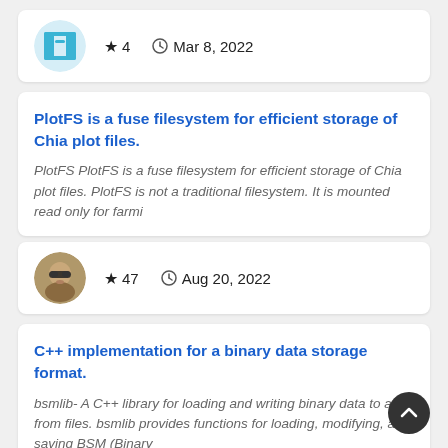[Figure (logo): Circular logo with teal/cyan H-like icon on light blue background]
★ 4   🕐 Mar 8, 2022
PlotFS is a fuse filesystem for efficient storage of Chia plot files.
PlotFS PlotFS is a fuse filesystem for efficient storage of Chia plot files. PlotFS is not a traditional filesystem. It is mounted read only for farmi
[Figure (photo): Circular avatar photo of a person wearing sunglasses]
★ 47   🕐 Aug 20, 2022
C++ implementation for a binary data storage format.
bsmlib- A C++ library for loading and writing binary data to and from files. bsmlib provides functions for loading, modifying, and saving BSM (Binary